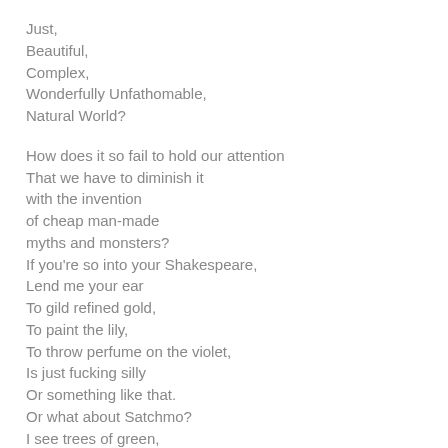Just,
Beautiful,
Complex,
Wonderfully Unfathomable,
Natural World?

How does it so fail to hold our attention
That we have to diminish it
with the invention
of cheap man-made
myths and monsters?
If you're so into your Shakespeare,
Lend me your ear
To gild refined gold,
To paint the lily,
To throw perfume on the violet,
Is just fucking silly
Or something like that.
Or what about Satchmo?
I see trees of green,
Red roses too...